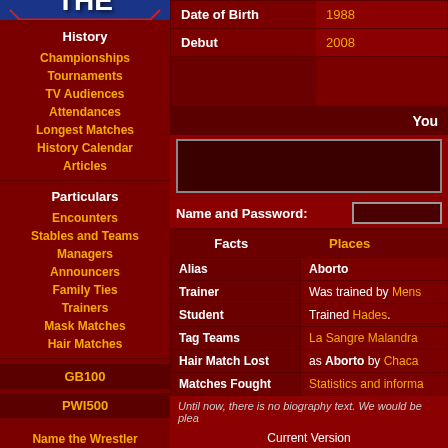[Figure (logo): Name the Wrestler logo with blue boxing ring background and two wrestlers]
History
Championships
Tournaments
TV Audiences
Attendances
Longest Matches
History Calendar
Articles
Particulars
Encounters
Stables and Teams
Managers
Announcers
Family Ties
Trainers
Mask Matches
Hair Matches
GB100
PWI500
Name the Wrestler
| Field | Value |
| --- | --- |
| Date of Birth | 1988 |
| Debut | 2008 |
|  |  |
You
Name and Password:
| Facts | Places |  |
| --- | --- | --- |
| Alias | Aborto |  |
| Trainer | Was trained by Mens |  |
| Student | Trained Hades. |  |
| Tag Teams | La Sangre Malandra |  |
| Hair Match Lost | as Aborto by Chaca |  |
| Matches Fought | Statistics and informa |  |
Until now, there is no biography text. We would be plea
Current Version